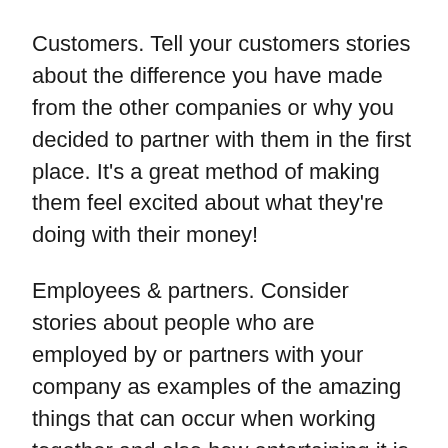Customers. Tell your customers stories about the difference you have made from the other companies or why you decided to partner with them in the first place. It's a great method of making them feel excited about what they're doing with their money!
Employees & partners. Consider stories about people who are employed by or partners with your company as examples of the amazing things that can occur when working together and also how entertaining it is as well!
Media & influencers: When speaking with reporters or influential bloggers/vloggers/etc.,